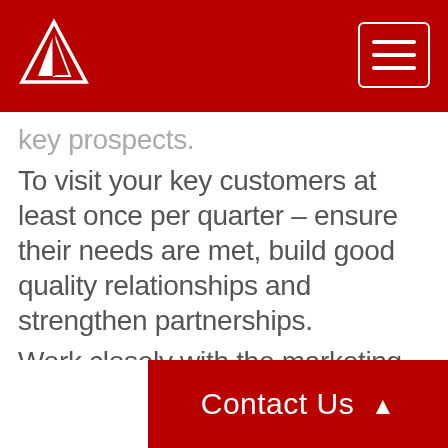[Figure (logo): White triangular logo on red background, top left]
key prospects.
To visit your key customers at least once per quarter – ensure their needs are met, build good quality relationships and strengthen partnerships.
Work closely with the marketing team and commercial manager to ensure that tenders are processed efficiently.
Attend company meetings, conferences, seminars and exhibitions when required.
Contact Us ▲